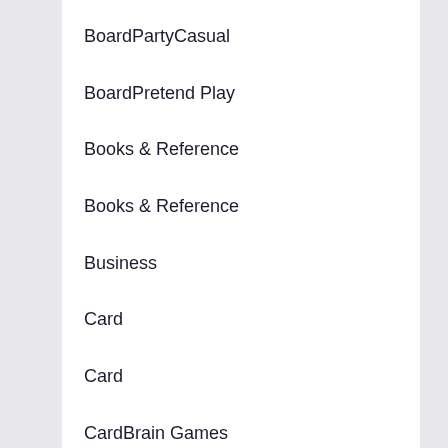BoardPartyCasual
BoardPretend Play
Books & Reference
Books & Reference
Business
Card
Card
CardBrain Games
CardCard battler
CardCard battlerCasual